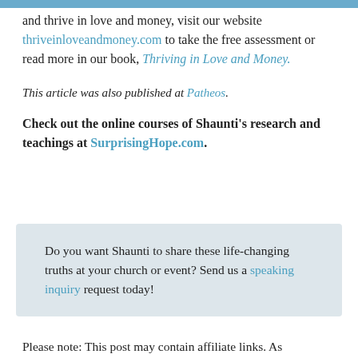and thrive in love and money, visit our website thriveinloveandmoney.com to take the free assessment or read more in our book, Thriving in Love and Money.
This article was also published at Patheos.
Check out the online courses of Shaunti's research and teachings at SurprisingHope.com.
Do you want Shaunti to share these life-changing truths at your church or event? Send us a speaking inquiry request today!
Please note: This post may contain affiliate links. As...